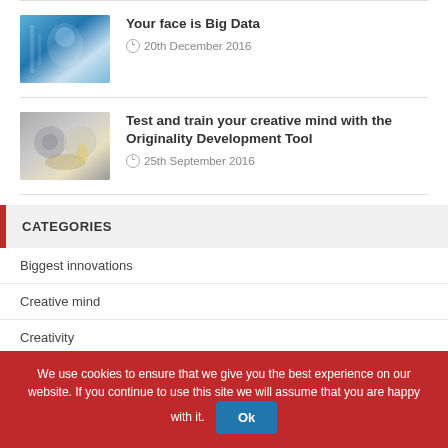[Figure (photo): Thumbnail image with blue digital/face technology theme]
Your face is Big Data
20th December 2016
[Figure (photo): Thumbnail image with gears and lightbulb creativity theme]
Test and train your creative mind with the Originality Development Tool
25th September 2016
CATEGORIES
Biggest innovations
Creative mind
Creativity
We use cookies to ensure that we give you the best experience on our website. If you continue to use this site we will assume that you are happy with it.